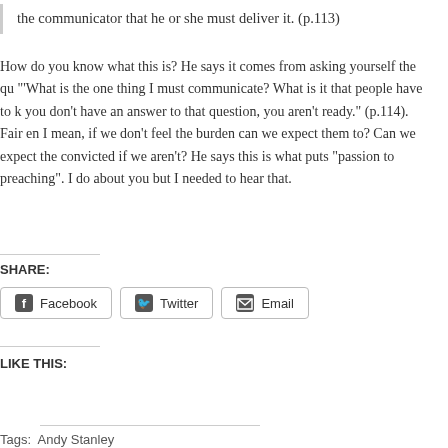the communicator that he or she must deliver it. (p.113)
How do you know what this is? He says it comes from asking yourself the qu… “‘What is the one thing I must communicate? What is it that people have to k… you don’t have an answer to that question, you aren’t ready.” (p.114). Fair en… I mean, if we don’t feel the burden can we expect them to? Can we expect the… convicted if we aren’t? He says this is what puts “passion to preaching”. I do… about you but I needed to hear that.
SHARE:
Facebook
Twitter
Email
LIKE THIS:
Tags:  Andy Stanley